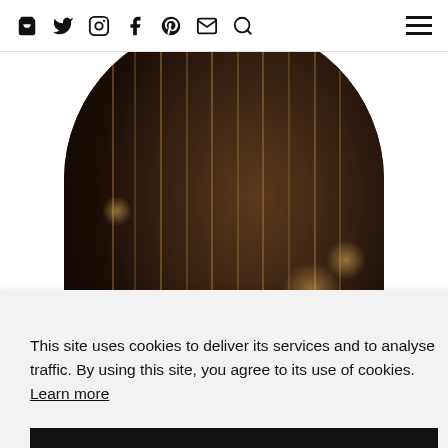Navigation bar with icons: shopping bag, twitter, instagram, facebook, pinterest, email, search, and hamburger menu
[Figure (photo): A person standing in a dark, moody interior with hanging vertical rods/strings and warm ambient lighting, displayed in an arch/oval shaped frame]
This site uses cookies to deliver its services and to analyse traffic. By using this site, you agree to its use of cookies. Learn more
OK